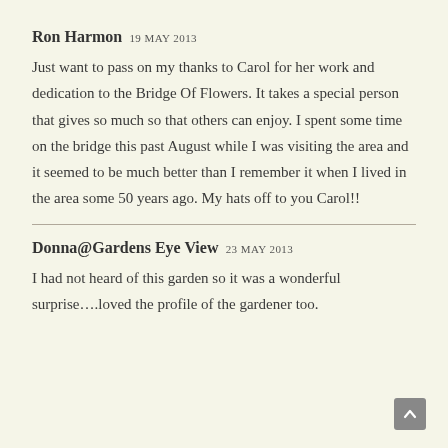Ron Harmon 19 MAY 2013
Just want to pass on my thanks to Carol for her work and dedication to the Bridge Of Flowers. It takes a special person that gives so much so that others can enjoy. I spent some time on the bridge this past August while I was visiting the area and it seemed to be much better than I remember it when I lived in the area some 50 years ago. My hats off to you Carol!!
Donna@Gardens Eye View 23 MAY 2013
I had not heard of this garden so it was a wonderful surprise….loved the profile of the gardener too.